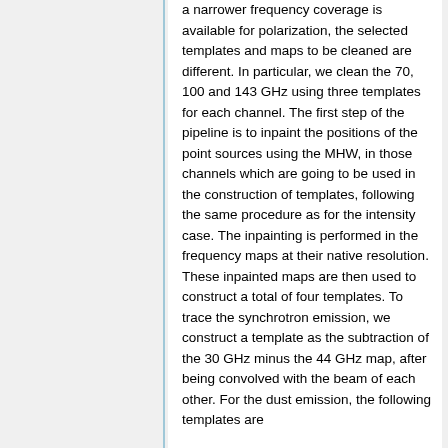a narrower frequency coverage is available for polarization, the selected templates and maps to be cleaned are different. In particular, we clean the 70, 100 and 143 GHz using three templates for each channel. The first step of the pipeline is to inpaint the positions of the point sources using the MHW, in those channels which are going to be used in the construction of templates, following the same procedure as for the intensity case. The inpainting is performed in the frequency maps at their native resolution. These inpainted maps are then used to construct a total of four templates. To trace the synchrotron emission, we construct a template as the subtraction of the 30 GHz minus the 44 GHz map, after being convolved with the beam of each other. For the dust emission, the following templates are